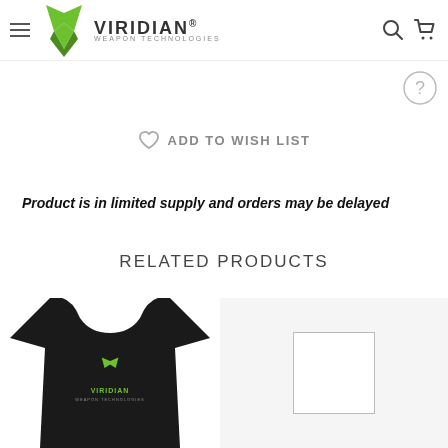Viridian Weapon Technologies
ADD TO WISH LIST
Product is in limited supply and orders may be delayed
RELATED PRODUCTS
[Figure (photo): Black Viridian Weapon Technologies t-shirt with green logo]
[Figure (photo): Blank white product image placeholder box]